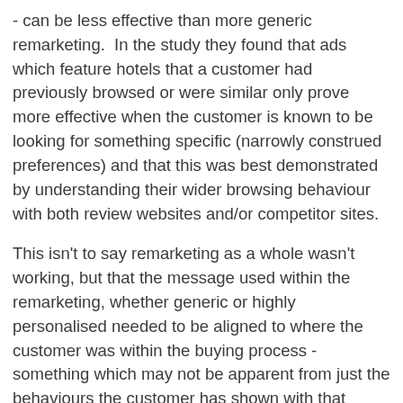- can be less effective than more generic remarketing.  In the study they found that ads which feature hotels that a customer had previously browsed or were similar only prove more effective when the customer is known to be looking for something specific (narrowly construed preferences) and that this was best demonstrated by understanding their wider browsing behaviour with both review websites and/or competitor sites.
This isn't to say remarketing as a whole wasn't working, but that the message used within the remarketing, whether generic or highly personalised needed to be aligned to where the customer was within the buying process - something which may not be apparent from just the behaviours the customer has shown with that brand/site.
Given the wealth of data contained with a loyalty programme and the increasing requirement for loyalty programmes to bring together wider customer interactions, this provides a real and tangible opportunity to increase programme effectiveness.  Whether this is to directly target brand customers for repeat purchase or to more subtly drive up